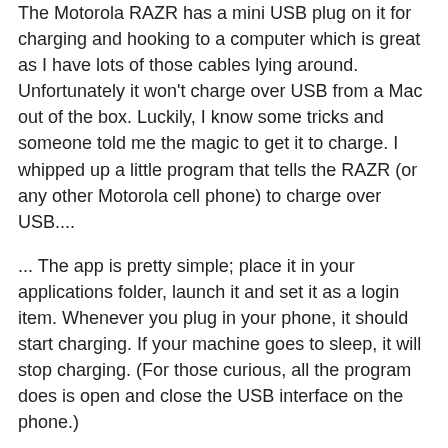The Motorola RAZR has a mini USB plug on it for charging and hooking to a computer which is great as I have lots of those cables lying around. Unfortunately it won't charge over USB from a Mac out of the box. Luckily, I know some tricks and someone told me the magic to get it to charge. I whipped up a little program that tells the RAZR (or any other Motorola cell phone) to charge over USB....
... The app is pretty simple; place it in your applications folder, launch it and set it as a login item. Whenever you plug in your phone, it should start charging. If your machine goes to sleep, it will stop charging. (For those curious, all the program does is open and close the USB interface on the phone.)
Easy to install, easy to uninstall. I'll definitely try it. Scott asks that, in return, we take a look at his receipt management software. I'll give that one a try too.
BTW, this app is not easy to find! Scott published it in